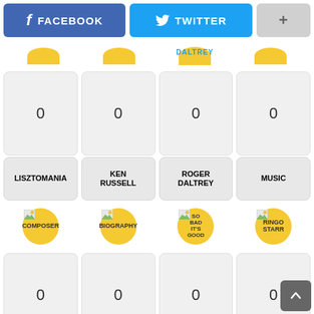[Figure (screenshot): Social media share buttons: Facebook (blue), Twitter (light blue), and plus/more button (gray)]
[Figure (screenshot): Grid of movie/topic cards showing: top partial circles row (DALTREY visible), first row of 4 cards each showing 0, label row: LISZTOMANIA, KEN RUSSELL, ROGER DALTREY, MUSIC, icon circles row: COMPOSER, BIOGRAPHY, SO BAD IT'S GOOD, RINGO STARR, second row of 4 cards each showing 0, bottom label row: COMPOSER, BIOGRAPHY, SO BAD IT'S GOOD, RINGO (cut off). Scroll-to-top button bottom right.]